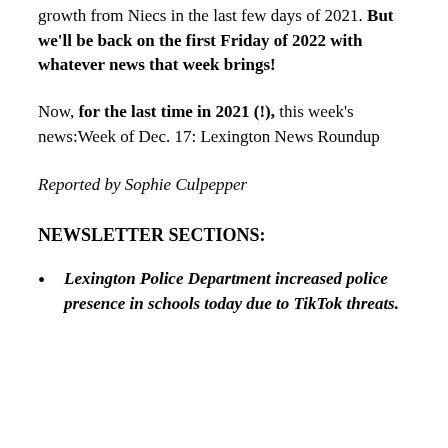growth from Niecs in the last few days of 2021. But we'll be back on the first Friday of 2022 with whatever news that week brings!
Now, for the last time in 2021 (!), this week's news:Week of Dec. 17: Lexington News Roundup
Reported by Sophie Culpepper
NEWSLETTER SECTIONS:
Lexington Police Department increased police presence in schools today due to TikTok threats.